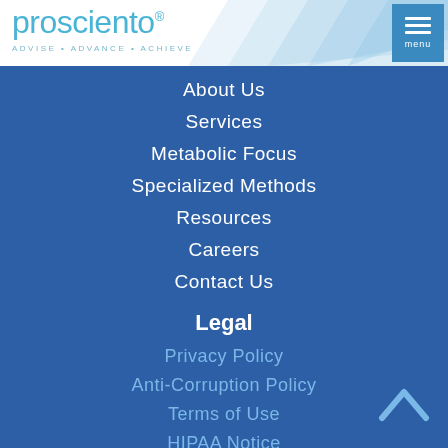[Figure (logo): Prosciento logo with text 'prosciento®' and tagline 'ADVISE · ADVANCE · ACHIEVE' on white background with light blue geometric pattern]
About Us
Services
Metabolic Focus
Specialized Methods
Resources
Careers
Contact Us
Legal
Privacy Policy
Anti-Corruption Policy
Terms of Use
HIPAA Notice